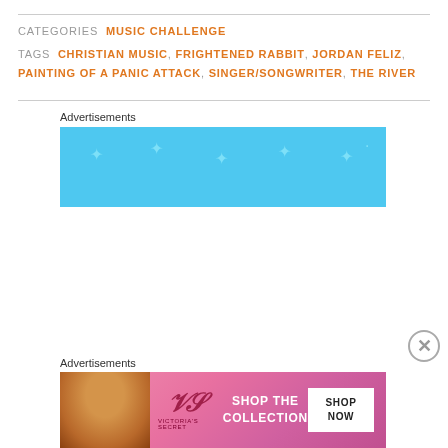CATEGORIES  MUSIC CHALLENGE
TAGS  CHRISTIAN MUSIC, FRIGHTENED RABBIT, JORDAN FELIZ, PAINTING OF A PANIC ATTACK, SINGER/SONGWRITER, THE RIVER
Advertisements
[Figure (other): Blue advertisement banner with sparkle/star decorations and partial circular icons at bottom]
Advertisements
[Figure (other): Victoria's Secret advertisement banner with model, VS logo, 'SHOP THE COLLECTION' text, and 'SHOP NOW' button]